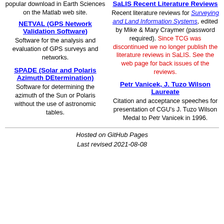popular download in Earth Sciences on the Matlab web site.
NETVAL (GPS Network Validation Software)
Software for the analysis and evaluation of GPS surveys and networks.
SPADE (Solar and Polaris Azimuth DEtermination)
Software for determining the azimuth of the Sun or Polaris without the use of astronomic tables.
SaLIS Recent Literature Reviews
Recent literature reviews for Surveying and Land Information Systems, edited by Mike & Mary Craymer (password required). Since TCG was discontinued we no longer publish the literature reviews in SaLIS. See the web page for back issues of the reviews.
Petr Vanicek, J. Tuzo Wilson Laureate
Citation and acceptance speeches for presentation of CGU's J. Tuzo Wilson Medal to Petr Vanicek in 1996.
Hosted on GitHub Pages
Last revised 2021-08-08